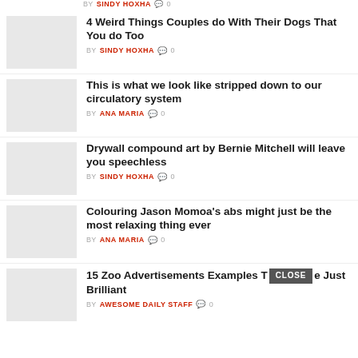BY SINDY HOXHA 0 (top partial item)
4 Weird Things Couples do With Their Dogs That You do Too — BY SINDY HOXHA 0
This is what we look like stripped down to our circulatory system — BY ANA MARIA 0
Drywall compound art by Bernie Mitchell will leave you speechless — BY SINDY HOXHA 0
Colouring Jason Momoa's abs might just be the most relaxing thing ever — BY ANA MARIA 0
15 Zoo Advertisements Examples T[CLOSE]e Just Brilliant — BY AWESOME DAILY STAFF 0